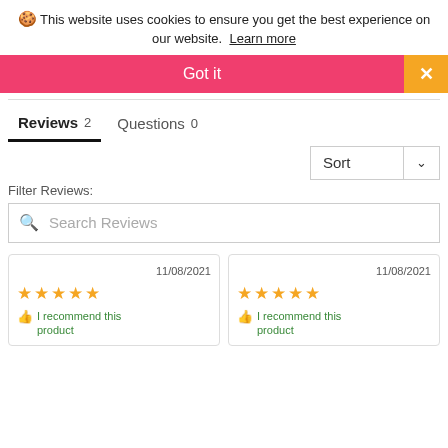🍪 This website uses cookies to ensure you get the best experience on our website. Learn more
Got it
×
Reviews 2   Questions 0
Sort
Filter Reviews:
Search Reviews
11/08/2021 ★★★★★ 👍 I recommend this product
11/08/2021 ★★★★★ 👍 I recommend this product